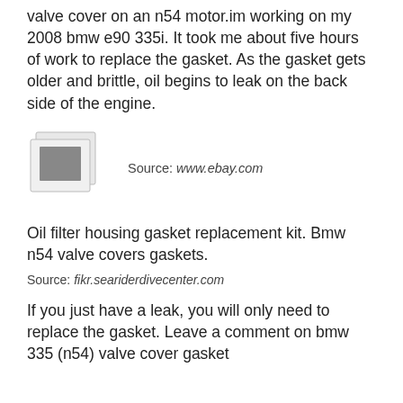valve cover on an n54 motor.im working on my 2008 bmw e90 335i. It took me about five hours of work to replace the gasket. As the gasket gets older and brittle, oil begins to leak on the back side of the engine.
[Figure (photo): Photo placeholder icon showing two overlapping polaroid-style image thumbnails with a grey square in the center]
Source: www.ebay.com
Oil filter housing gasket replacement kit. Bmw n54 valve covers gaskets.
Source: fikr.seariderdivecenter.com
If you just have a leak, you will only need to replace the gasket. Leave a comment on bmw 335 (n54) valve cover gasket